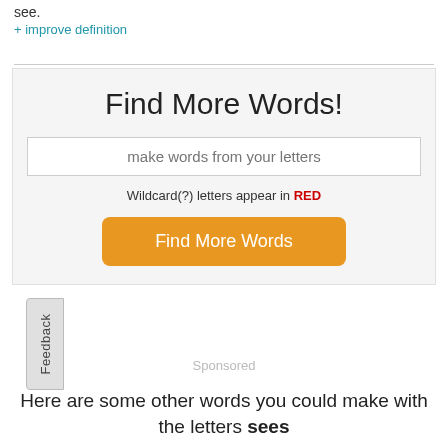see.
+ improve definition
[Figure (other): Find More Words widget with text input, wildcard note, and orange Find More Words button on a light gray background]
Sponsored
Here are some other words you could make with the letters sees